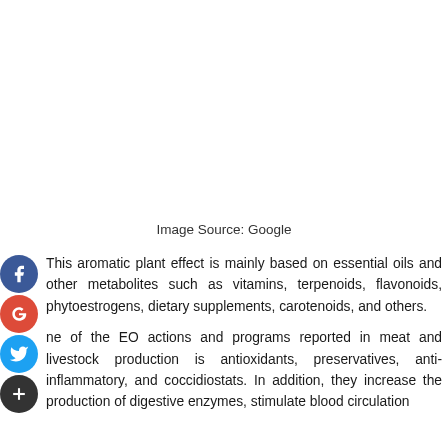[Figure (other): Blank white image area at top of page]
Image Source: Google
This aromatic plant effect is mainly based on essential oils and other metabolites such as vitamins, terpenoids, flavonoids, phytoestrogens, dietary supplements, carotenoids, and others.
One of the EO actions and programs reported in meat and livestock production is antioxidants, preservatives, anti-inflammatory, and coccidiostats. In addition, they increase the production of digestive enzymes, stimulate blood circulation